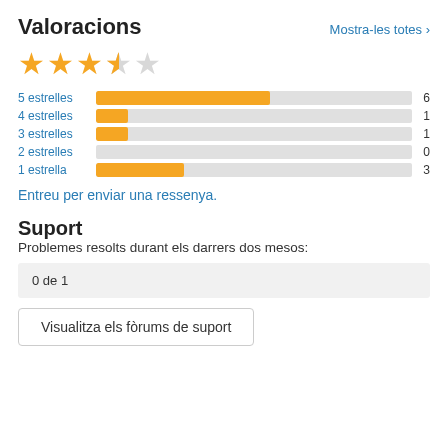Valoracions
Mostra-les totes >
[Figure (other): Star rating display showing 3.5 out of 5 stars (3 full gold stars, 1 half gold star, 1 empty star)]
[Figure (bar-chart): Rating distribution]
Entreu per enviar una ressenya.
Suport
Problemes resolts durant els darrers dos mesos:
0 de 1
Visualitza els fòrums de suport